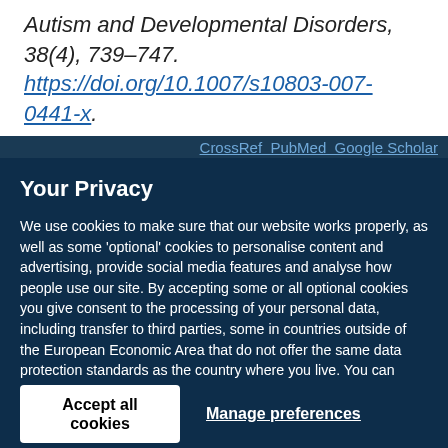Autism and Developmental Disorders, 38(4), 739–747. https://doi.org/10.1007/s10803-007-0441-x.
CrossRef  PubMed  Google Scholar
Your Privacy
We use cookies to make sure that our website works properly, as well as some 'optional' cookies to personalise content and advertising, provide social media features and analyse how people use our site. By accepting some or all optional cookies you give consent to the processing of your personal data, including transfer to third parties, some in countries outside of the European Economic Area that do not offer the same data protection standards as the country where you live. You can decide which optional cookies to accept by clicking on 'Manage Settings', where you can also find more information about how your personal data is processed. Further information can be found in our privacy policy.
Accept all cookies
Manage preferences